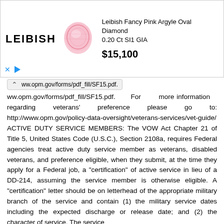[Figure (infographic): Leibish advertisement banner showing a pink oval diamond gemstone with logo, product name 'Leibish Fancy Pink Argyle Oval Diamond 0.20 Ct SI1 GIA' and price $15,100]
ww.opm.gov/forms/pdf_fill/SF15.pdf.   For   more information   regarding   veterans'   preference   please   go   to: http://www.opm.gov/policy-data-oversight/veterans-services/vet-guide/
ACTIVE DUTY SERVICE MEMBERS: The VOW Act Chapter 21 of Title 5, United States Code (U.S.C.), Section 2108a, requires Federal agencies treat active duty service member as veterans, disabled veterans, and preference eligible, when they submit, at the time they apply for a Federal job, a "certification" of active service in lieu of a DD-214, assuming the service member is otherwise eligible. A "certification" letter should be on letterhead of the appropriate military branch of the service and contain (1) the military service dates including the expected discharge or release date; and (2) the character of service. The service